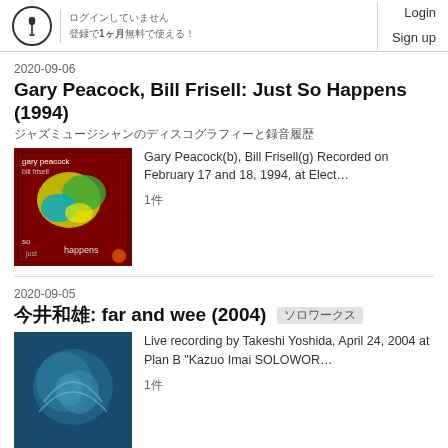Login Sign up [logo/site header]
2020-09-06
Gary Peacock, Bill Frisell: Just So Happens (1994)
（Japanese subtitle text）
[Figure (photo): Album cover for Just So Happens - dark red background with colorful abstract shapes]
Gary Peacock(b), Bill Frisell(g) Recorded on February 17 and 18, 1994, at Elect…
1件
2020-09-05
今井和雄: far and wee (2004)　（tag badge）
[Figure (photo): Album cover for far and wee - blue/teal abstract art]
Live recording by Takeshi Yoshida, April 24, 2004 at Plan B "Kazuo Imai SOLOWOR…
1件
2020-09-05
Jeff Parker（Japanese text）